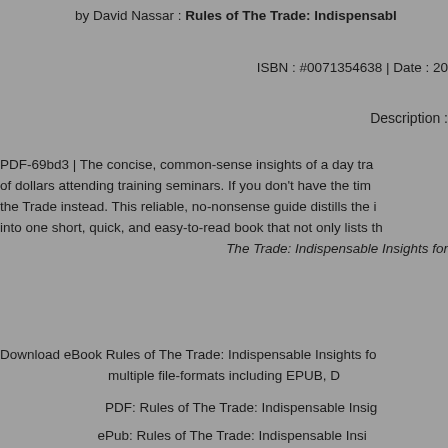by David Nassar : Rules of The Trade: Indispensable Insights for...
ISBN : #0071354638 | Date : 20...
Description :
PDF-69bd3 | The concise, common-sense insights of a day trader who has trained thousands and saved them thousands of dollars attending training seminars. If you don't have the time or money for seminars, pick up Rules of the Trade instead. This reliable, no-nonsense guide distills the information into one short, quick, and easy-to-read book that not only lists th... The Trade: Indispensable Insights for...
Download eBook Rules of The Trade: Indispensable Insights fo... multiple file-formats including EPUB, D...
PDF: Rules of The Trade: Indispensable Insig...
ePub: Rules of The Trade: Indispensable Insi...